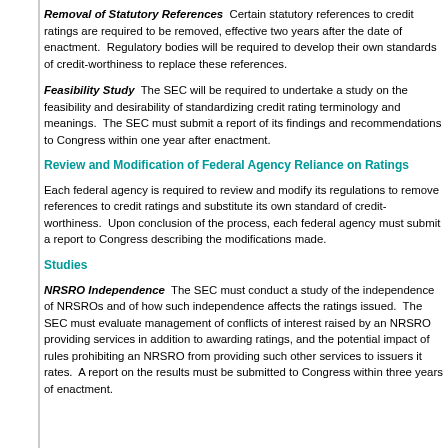Removal of Statutory References  Certain statutory references to credit ratings are required to be removed, effective two years after the date of enactment.  Regulatory bodies will be required to develop their own standards of credit-worthiness to replace these references.
Feasibility Study  The SEC will be required to undertake a study on the feasibility and desirability of standardizing credit rating terminology and meanings.  The SEC must submit a report of its findings and recommendations to Congress within one year after enactment.
Review and Modification of Federal Agency Reliance on Ratings
Each federal agency is required to review and modify its regulations to remove references to credit ratings and substitute its own standard of credit-worthiness.  Upon conclusion of the process, each federal agency must submit a report to Congress describing the modifications made.
Studies
NRSRO Independence  The SEC must conduct a study of the independence of NRSROs and of how such independence affects the ratings issued.  The SEC must evaluate management of conflicts of interest raised by an NRSRO providing services in addition to awarding ratings, and the potential impact of rules prohibiting an NRSRO from providing such other services to issuers it rates.  A report on the results must be submitted to Congress within three years of enactment.